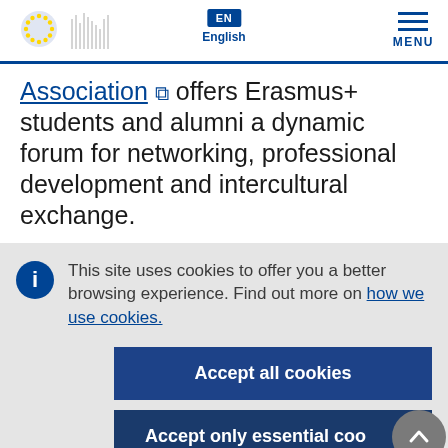[Figure (logo): European Commission logo with EU flag stars and building silhouette]
EN English
MENU
Association [external link icon] offers Erasmus+ students and alumni a dynamic forum for networking, professional development and intercultural exchange.
This site uses cookies to offer you a better browsing experience. Find out more on how we use cookies.
Accept all cookies
Accept only essential cookies